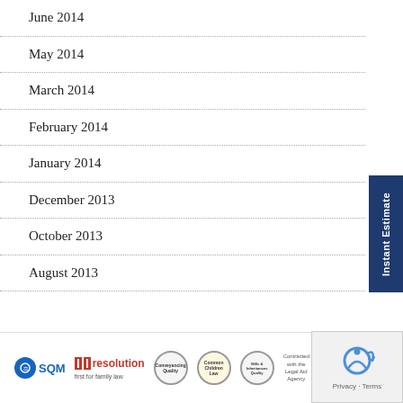June 2014
May 2014
March 2014
February 2014
January 2014
December 2013
October 2013
August 2013
[Figure (logo): Footer logos: SQM, Resolution (first for family law), Conveyancing Quality, Common Children Law, Wills & Inheritances Quality, Contracted with the Legal Aid Agency]